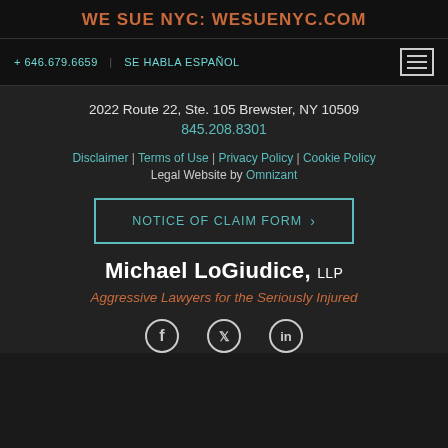WE SUE NYC: WESUENYC.COM
+ 646.679.6659 | SE HABLA ESPAÑOL
2022 Route 22, Ste. 105 Brewster, NY 10509
845.208.8301
Disclaimer | Terms of Use | Privacy Policy | Cookie Policy
Legal Website by Omnizant
NOTICE OF CLAIM FORM ›
Michael LoGiudice, LLP
Aggressive Lawyers for the Seriously Injured
[Figure (illustration): Social media icons: Facebook, Twitter, LinkedIn]